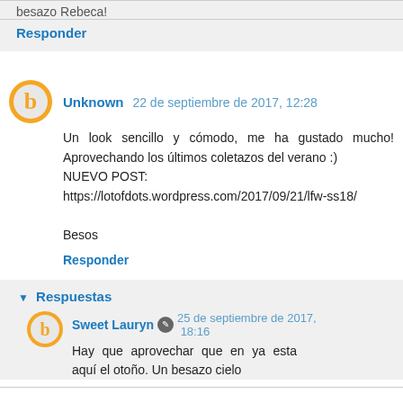besazo Rebeca!
Responder
Unknown  22 de septiembre de 2017, 12:28
Un look sencillo y cómodo, me ha gustado mucho! Aprovechando los últimos coletazos del verano :)
NUEVO POST:
https://lotofdots.wordpress.com/2017/09/21/lfw-ss18/

Besos
Responder
Respuestas
Sweet Lauryn  25 de septiembre de 2017, 18:16
Hay que aprovechar que en ya esta aquí el otoño. Un besazo cielo